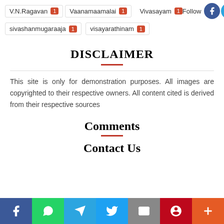V.N.Ragavan (1)
Vaanamaamalai (1)
Vivasayam (1)
sivashanmugaraaja (1)
visayarathinam (1)
DISCLAIMER
This site is only for demonstration purposes. All images are copyrighted to their respective owners. All content cited is derived from their respective sources
Comments
Contact Us